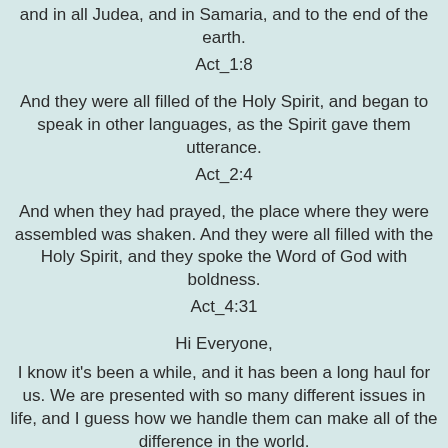and in all Judea, and in Samaria, and to the end of the earth.
Act_1:8
And they were all filled of the Holy Spirit, and began to speak in other languages, as the Spirit gave them utterance.
Act_2:4
And when they had prayed, the place where they were assembled was shaken. And they were all filled with the Holy Spirit, and they spoke the Word of God with boldness.
Act_4:31
Hi Everyone,
I know it's been a while, and it has been a long haul for us. We are presented with so many different issues in life, and I guess how we handle them can make all of the difference in the world.
First I want to thank everyone for their prayers and heartfelt notes.  My neck is slowly getting better, which is wonderful. A miracle from God.   Our house and cars will slowly recover